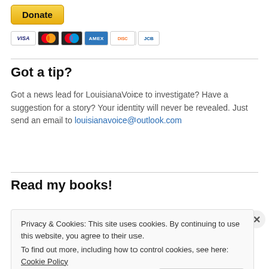[Figure (other): PayPal Donate button (yellow/gold rounded rectangle) above a row of payment card icons: Visa, Mastercard, Maestro, American Express, Discover, JCB]
Got a tip?
Got a news lead for LouisianaVoice to investigate? Have a suggestion for a story? Your identity will never be revealed. Just send an email to louisianavoice@outlook.com
Read my books!
Privacy & Cookies: This site uses cookies. By continuing to use this website, you agree to their use.
To find out more, including how to control cookies, see here: Cookie Policy